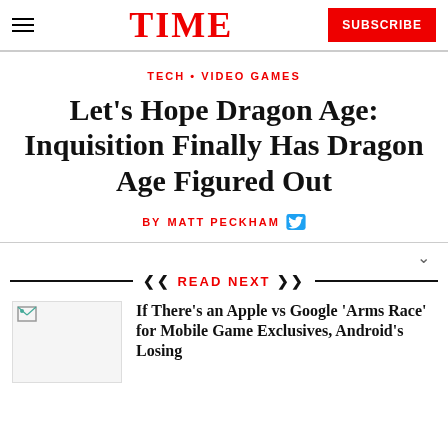TIME
TECH • VIDEO GAMES
Let's Hope Dragon Age: Inquisition Finally Has Dragon Age Figured Out
BY MATT PECKHAM
READ NEXT
If There's an Apple vs Google 'Arms Race' for Mobile Game Exclusives, Android's Losing